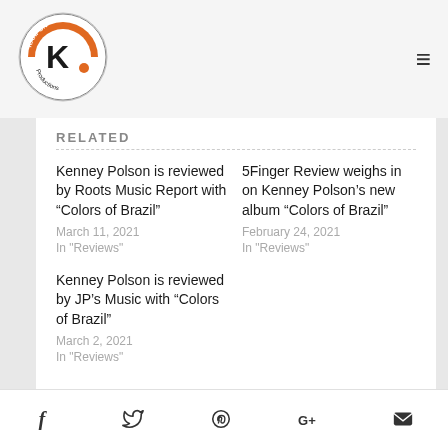Kari-On Productions logo and navigation
Related
Kenney Polson is reviewed by Roots Music Report with “Colors of Brazil”
March 11, 2021
In "Reviews"
5Finger Review weighs in on Kenney Polson’s new album “Colors of Brazil”
February 24, 2021
In "Reviews"
Kenney Polson is reviewed by JP’s Music with “Colors of Brazil”
March 2, 2021
In "Reviews"
Social share icons: Facebook, Twitter, Pinterest, Google+, Email